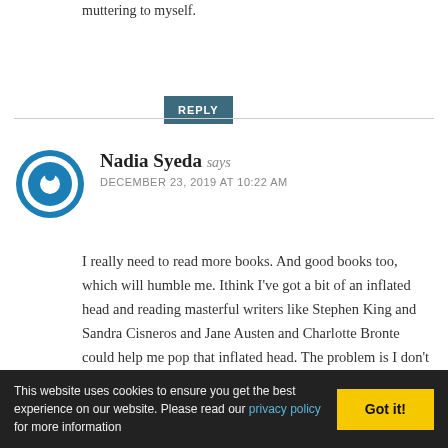muttering to myself.
REPLY
Nadia Syeda says
DECEMBER 23, 2019 AT 10:22 AM
I really need to read more books. And good books too, which will humble me. Ithink I've got a bit of an inflated head and reading masterful writers like Stephen King and Sandra Cisneros and Jane Austen and Charlotte Bronte could help me pop that inflated head. The problem is I don't have a wallet so I can't buy books and the library just has horrible romance although I did find this lovely book with beautiful prose, although
This website uses cookies to ensure you get the best experience on our website. Please read our privacy policy for more information